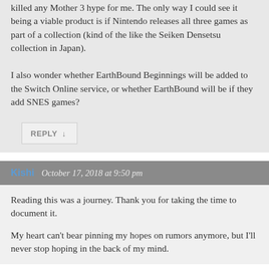killed any Mother 3 hype for me. The only way I could see it being a viable product is if Nintendo releases all three games as part of a collection (kind of the like the Seiken Densetsu collection in Japan).

I also wonder whether EarthBound Beginnings will be added to the Switch Online service, or whether EarthBound will be if they add SNES games?
REPLY ↓
Kishi   October 17, 2018 at 9:50 pm
Reading this was a journey. Thank you for taking the time to document it.
My heart can't bear pinning my hopes on rumors anymore, but I'll never stop hoping in the back of my mind.